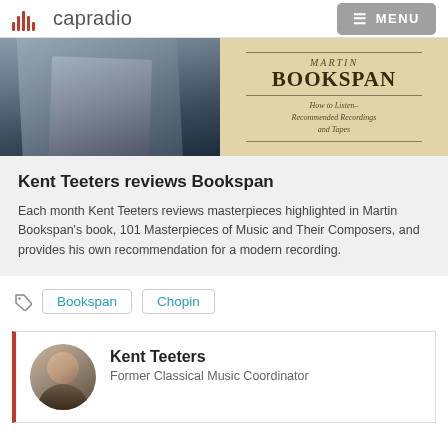capradio  MENU
[Figure (photo): Split image: left side shows a man in a grey suit jacket (partially visible), right side shows a book cover for 'MARTIN BOOKSPAN – How to Listen–Recommended Recordings and Tapes' on a cream/tan background.]
Kent Teeters reviews Bookspan
Each month Kent Teeters reviews masterpieces highlighted in Martin Bookspan's book, 101 Masterpieces of Music and Their Composers, and provides his own recommendation for a modern recording.
Bookspan
Chopin
Kent Teeters
Former Classical Music Coordinator